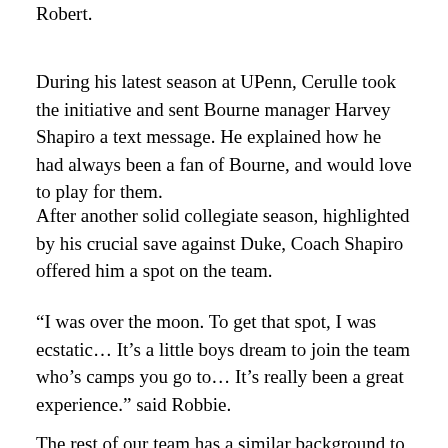Robert.
During his latest season at UPenn, Cerulle took the initiative and sent Bourne manager Harvey Shapiro a text message. He explained how he had always been a fan of Bourne, and would love to play for them.
After another solid collegiate season, highlighted by his crucial save against Duke, Coach Shapiro offered him a spot on the team.
“I was over the moon. To get that spot, I was ecstatic… It’s a little boys dream to join the team who’s camps you go to… It’s really been a great experience.” said Robbie.
The rest of our team has a similar background to our in…